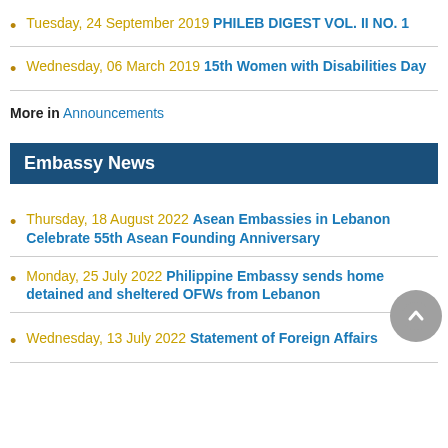Tuesday, 24 September 2019 PHILEB DIGEST VOL. II NO. 1
Wednesday, 06 March 2019 15th Women with Disabilities Day
More in Announcements
Embassy News
Thursday, 18 August 2022 Asean Embassies in Lebanon Celebrate 55th Asean Founding Anniversary
Monday, 25 July 2022 Philippine Embassy sends home detained and sheltered OFWs from Lebanon
Wednesday, 13 July 2022 Statement of Foreign Affairs